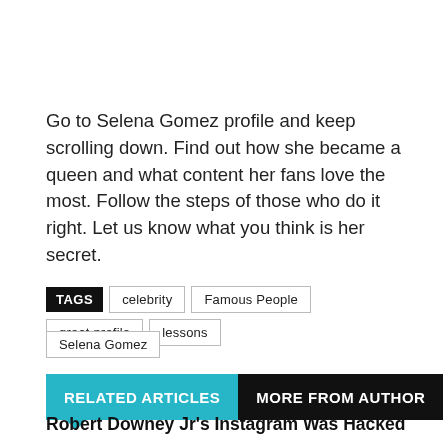Go to Selena Gomez profile and keep scrolling down. Find out how she became a queen and what content her fans love the most. Follow the steps of those who do it right. Let us know what you think is her secret.
TAGS  celebrity  Famous People  great profile  lessons  Selena Gomez
RELATED ARTICLES  MORE FROM AUTHOR
Robert Downey Jr's Instagram Was Hacked